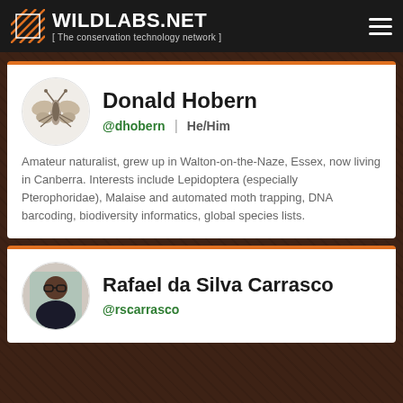WILDLABS.NET [ The conservation technology network ]
Donald Hobern
@dhobern   He/Him
Amateur naturalist, grew up in Walton-on-the-Naze, Essex, now living in Canberra. Interests include Lepidoptera (especially Pterophoridae), Malaise and automated moth trapping, DNA barcoding, biodiversity informatics, global species lists.
Rafael da Silva Carrasco
@rscarrasco